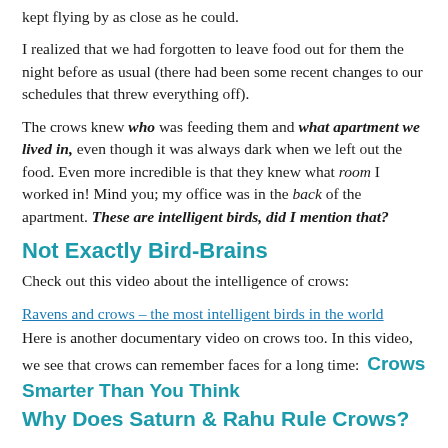kept flying by as close as he could.
I realized that we had forgotten to leave food out for them the night before as usual (there had been some recent changes to our schedules that threw everything off).
The crows knew who was feeding them and what apartment we lived in, even though it was always dark when we left out the food. Even more incredible is that they knew what room I worked in! Mind you; my office was in the back of the apartment. These are intelligent birds, did I mention that?
Not Exactly Bird-Brains
Check out this video about the intelligence of crows:
Ravens and crows – the most intelligent birds in the world
Here is another documentary video on crows too. In this video, we see that crows can remember faces for a long time:  Crows Smarter Than You Think
Why Does Saturn & Rahu Rule Crows?